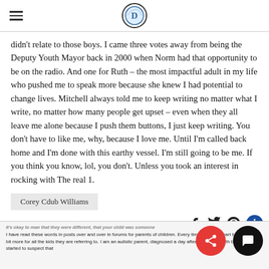[Hamburger menu icon] [Site logo - circular badge with letter D]
didn't relate to those boys. I came three votes away from being the Deputy Youth Mayor back in 2000 when Norm had that opportunity to be on the radio. And one for Ruth – the most impactful adult in my life who pushed me to speak more because she knew I had potential to change lives. Mitchell always told me to keep writing no matter what I write, no matter how many people get upset – even when they all leave me alone because I push them buttons, I just keep writing. You don't have to like me, why, because I love me. Until I'm called back home and I'm done with this earthy vessel. I'm still going to be me. If you think you know, lol, you don't. Unless you took an interest in rocking with The real 1.
Corey Cdub Williams
It's okay to man that they were different, that your child was someone I have read these words in posts over and over in forums for parents of children. Every time I do, my heart breaks a little bit more for all the kids they are referring to. I am an autistic parent, diagnosed a day after my thirty-fourth birthday. I started to suspect that